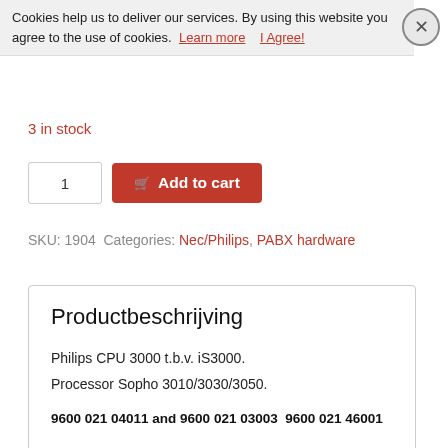Cookies help us to deliver our services. By using this website you agree to the use of cookies. Learn more  I Agree!
3 in stock
1  Add to cart
SKU: 1904  Categories: Nec/Philips, PABX hardware
Productbeschrijving
Philips CPU 3000 t.b.v. iS3000.
Processor Sopho 3010/3030/3050.
9600 021 04011 and 9600 021 03003  9600 021 46001